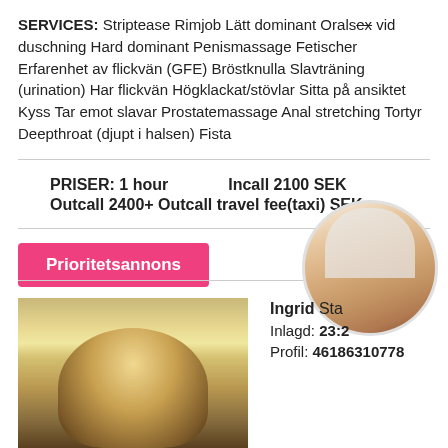SERVICES: Striptease Rimjob Lätt dominant Oralsex vid duschning Hard dominant Penismassage Fetischer Erfarenhet av flickvän (GFE) Bröstknulla Slavträning (urination) Har flickvän Högklackat/stövlar Sitta på ansiktet Kyss Tar emot slavar Prostatemassage Anal stretching Tortyr Deepthroat (djupt i halsen) Fista
PRISER: 1 hour    Incall 2100 SEK    Outcall 2400+ Outcall travel fee(taxi) SEK
[Figure (photo): Pink button label: Prioritetsannons]
[Figure (photo): Photo of blonde woman]
[Figure (photo): Circular photo of woman in white top]
Ingrid Sta... Inlagd: 23:2... Profil: 46186310778